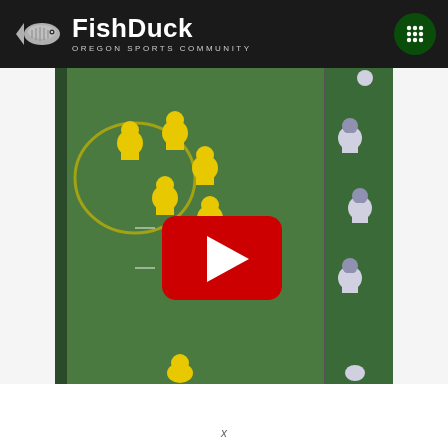FishDuck Oregon Sports Community
[Figure (screenshot): Football game aerial view showing Oregon Ducks players in yellow uniforms lined up at scrimmage against opponents in white/purple uniforms. A YouTube play button overlay is visible in the center of the image.]
x